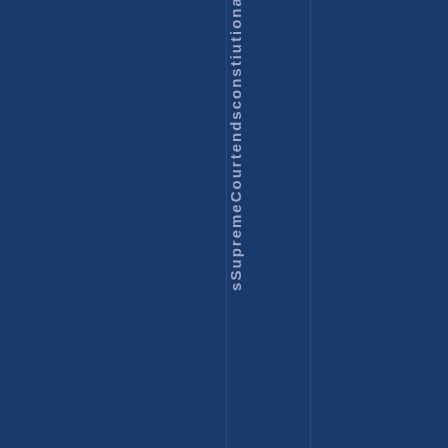[Figure (other): Dark navy blue cover page with a vertical stripe/column design. Vertical text reading 'sSupremeCourtendsconstiutional' (partial, cut off at bottom) is displayed in a lighter blue/purple color along a narrow vertical band in the center-left area of the page.]